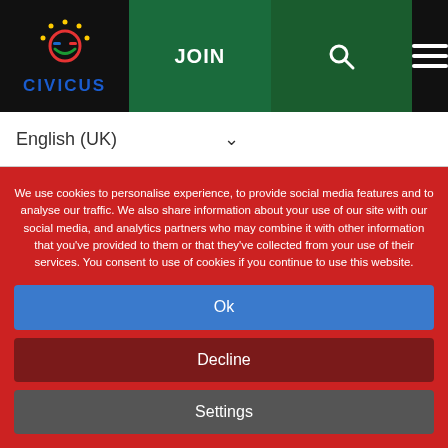[Figure (logo): CIVICUS logo with circular icon and blue CIVICUS text on black navigation bar]
JOIN  [search icon]  [menu icon]
English (UK)
projects involving the exploitation of natural resources are sparking strong reactions from local communities – and not without consequence.
We use cookies to personalise experience, to provide social media features and to analyse our traffic. We also share information about your use of our site with our social media, and analytics partners who may combine it with other information that you've provided to them or that they've collected from your use of their services. You consent to use of cookies if you continue to use this website.
Ok
Decline
Settings